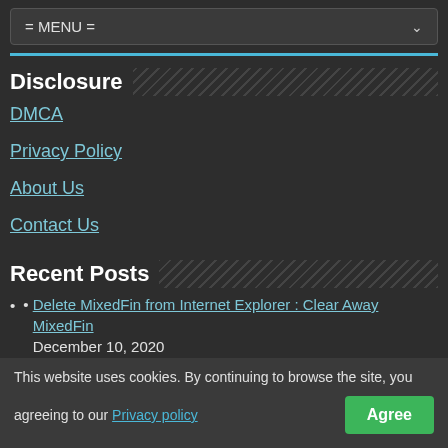= MENU =
Disclosure
DMCA
Privacy Policy
About Us
Contact Us
Recent Posts
Delete MixedFin from Internet Explorer : Clear Away MixedFin December 10, 2020
Guide To Delete YAYA Ransomware December 10, 2020
Remove Gon Malware from Windows 7 December 10, 2020
Get Rid Of Fashingbe.space from Chrome December 10, 2020
This website uses cookies. By continuing to browse the site, you agreeing to our Privacy policy Agree